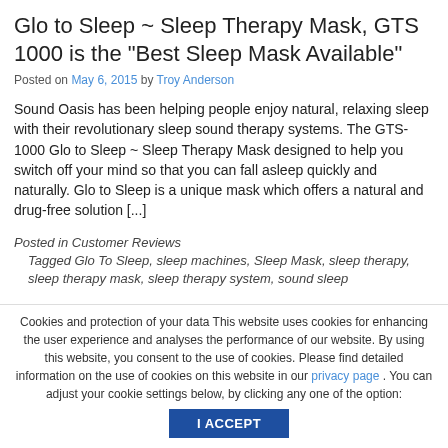Glo to Sleep ~ Sleep Therapy Mask, GTS 1000 is the “Best Sleep Mask Available”
Posted on May 6, 2015 by Troy Anderson
Sound Oasis has been helping people enjoy natural, relaxing sleep with their revolutionary sleep sound therapy systems. The GTS-1000 Glo to Sleep ~ Sleep Therapy Mask designed to help you switch off your mind so that you can fall asleep quickly and naturally. Glo to Sleep is a unique mask which offers a natural and drug-free solution [...]
Posted in Customer Reviews
Tagged Glo To Sleep, sleep machines, Sleep Mask, sleep therapy, sleep therapy mask, sleep therapy system, sound sleep
Cookies and protection of your data This website uses cookies for enhancing the user experience and analyses the performance of our website. By using this website, you consent to the use of cookies. Please find detailed information on the use of cookies on this website in our privacy page . You can adjust your cookie settings below, by clicking any one of the option:
I ACCEPT